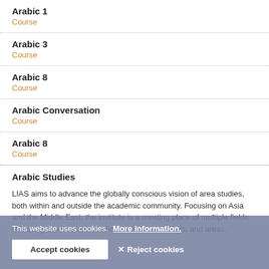Arabic 1
Course
Arabic 3
Course
Arabic 8
Course
Arabic Conversation
Course
Arabic 8
Course
Arabic Studies
LIAS aims to advance the globally conscious vision of area studies, both within and outside the academic community. Focusing on Asia and the Middle East, the institute is a meeting place of multiple fields of inquiry, theories and methods, historical periods, and areas.
This website uses cookies.  More information.
Accept cookies   ✕ Reject cookies